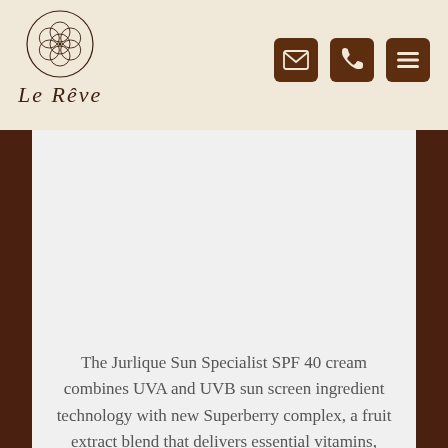[Figure (logo): Le Reve brand logo: decorative circular geometric pattern above cursive italic text reading 'Le Rêve']
[Figure (other): Navigation icons in header: envelope/mail icon, phone icon, and hamburger menu icon, all brown on lighter brown square backgrounds]
[Figure (photo): Product image area - light gray placeholder for Jurlique Sun Specialist SPF 40 cream product photo]
The Jurlique Sun Specialist SPF 40 cream combines UVA and UVB sun screen ingredient technology with new Superberry complex, a fruit extract blend that delivers essential vitamins, minerals and amino acids to